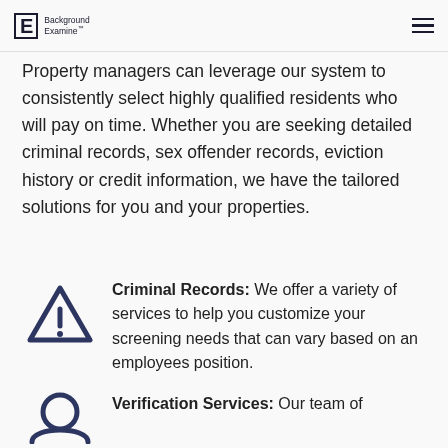Background Examine
Property managers can leverage our system to consistently select highly qualified residents who will pay on time. Whether you are seeking detailed criminal records, sex offender records, eviction history or credit information, we have the tailored solutions for you and your properties.
Criminal Records: We offer a variety of services to help you customize your screening needs that can vary based on an employees position.
Verification Services: Our team of